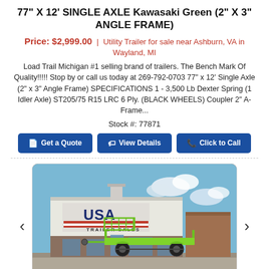77" X 12' SINGLE AXLE Kawasaki Green (2" X 3" ANGLE FRAME)
Price: $2,999.00 | Utility Trailer for sale near Ashburn, VA in Wayland, MI
Load Trail Michigan #1 selling brand of trailers. The Bench Mark Of Quality!!!!! Stop by or call us today at 269-792-0703 77" x 12' Single Axle (2" x 3" Angle Frame) SPECIFICATIONS 1 - 3,500 Lb Dexter Spring (1 Idler Axle) ST205/75 R15 LRC 6 Ply. (BLACK WHEELS) Coupler 2" A-Frame...
Stock #: 77871
[Figure (other): Three buttons: Get a Quote, View Details, Click to Call]
[Figure (photo): Photo of a bright green utility trailer parked in front of USA Trailer Sales building with blue sky background]